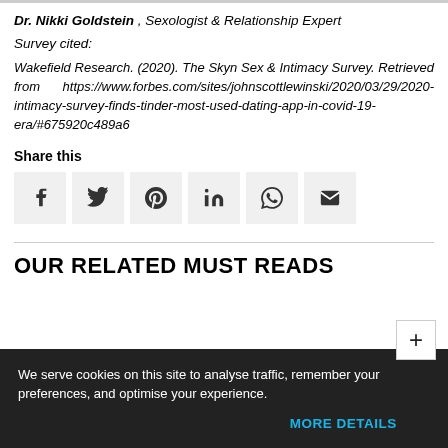Dr. Nikki Goldstein , Sexologist & Relationship Expert
Survey cited:
Wakefield Research. (2020). The Skyn Sex & Intimacy Survey. Retrieved from https://www.forbes.com/sites/johnscottlewinski/2020/03/29/2020-intimacy-survey-finds-tinder-most-used-dating-app-in-covid-19-era/#675920c489a6
Share this
[Figure (infographic): Row of six social share icon buttons: Facebook, Twitter, Pinterest, LinkedIn, WhatsApp, Email]
OUR RELATED MUST READS
We serve cookies on this site to analyse traffic, remember your preferences, and optimise your experience.
MORE DETAILS   OK